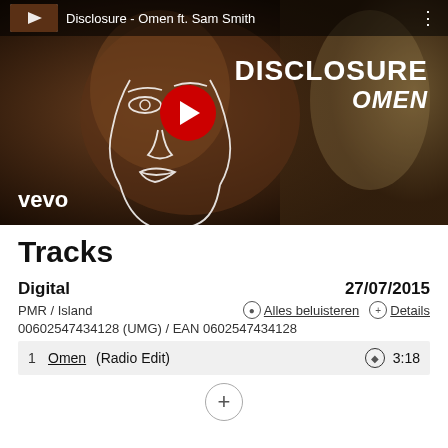[Figure (screenshot): YouTube/Vevo music video thumbnail for Disclosure - Omen ft. Sam Smith. Shows a person's face with white line art overlay, YouTube play button in red, text DISCLOSURE OMEN in white, and vevo logo at bottom left. Video title bar at top reads 'Disclosure - Omen ft. Sam Smith'.]
Tracks
Digital	27/07/2015
PMR / Island	⊙ Alles beluisteren  ⊕ Details
00602547434128 (UMG) / EAN 0602547434128
1  Omen (Radio Edit)  ⊙ 3:18